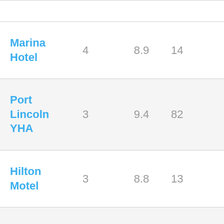| Name | Stars | Rating | Price |
| --- | --- | --- | --- |
| Marina Hotel | 4 | 8.9 | 14… |
| Port Lincoln YHA | 3 | 9.4 | 82… |
| Hilton Motel | 3 | 8.8 | 13… |
| Bay 10 Suites | 4 | 9.2 | 13… |
| Little Hacienda | 4 | 9.1 | 15… |